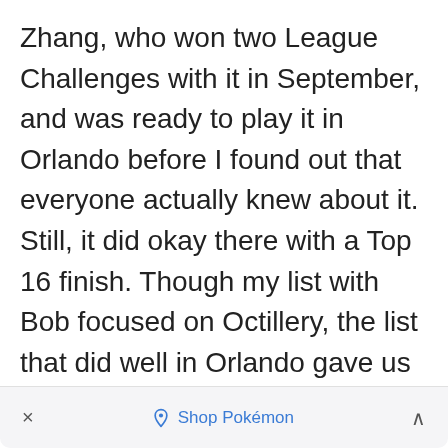Zhang, who won two League Challenges with it in September, and was ready to play it in Orlando before I found out that everyone actually knew about it. Still, it did okay there with a Top 16 finish. Though my list with Bob focused on Octillery, the list that did well in Orlando gave us a glimpse into a different variant, one focused more on Shaymin-EX. Though the cute Meowstic-EX tech was
× Shop Pokémon ^